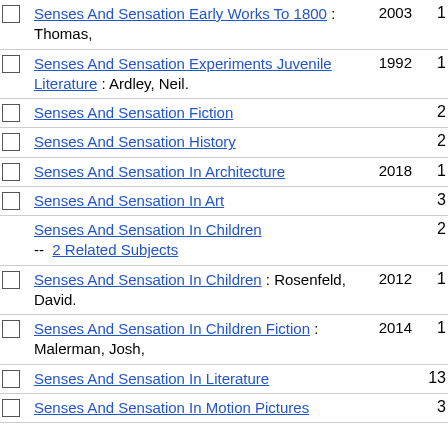Senses And Sensation Early Works To 1800 : Thomas, 2003 1
Senses And Sensation Experiments Juvenile Literature : Ardley, Neil. 1992 1
Senses And Sensation Fiction 2
Senses And Sensation History 2
Senses And Sensation In Architecture 2018 1
Senses And Sensation In Art 3
Senses And Sensation In Children -- 2 Related Subjects 2
Senses And Sensation In Children : Rosenfeld, David. 2012 1
Senses And Sensation In Children Fiction : Malerman, Josh, 2014 1
Senses And Sensation In Literature 13
Senses And Sensation In Motion Pictures 3